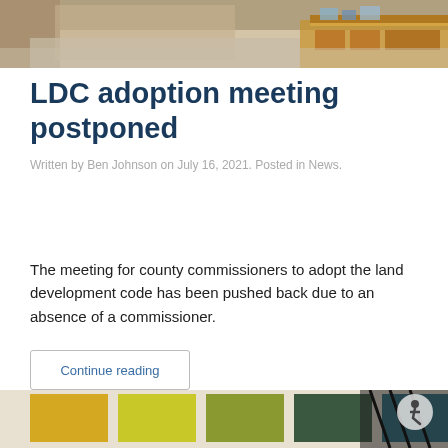[Figure (photo): Interior of a building hallway with wooden furniture and beige carpet, viewed from above]
LDC adoption meeting postponed
Written by Ben Johnson on July 16, 2021. Posted in News.
The meeting for county commissioners to adopt the land development code has been pushed back due to an absence of a commissioner.
Continue reading
[Figure (photo): Colorful rectangular panels in yellow, green, dark green, and teal mounted on a wall near a staircase railing]